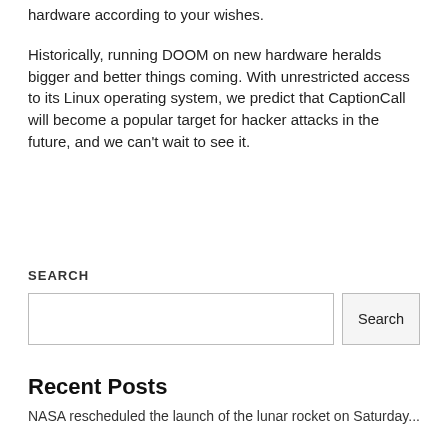hardware according to your wishes.
Historically, running DOOM on new hardware heralds bigger and better things coming. With unrestricted access to its Linux operating system, we predict that CaptionCall will become a popular target for hacker attacks in the future, and we can't wait to see it.
SEARCH
Search
Recent Posts
NASA rescheduled the launch of the lunar rocket on Saturday...